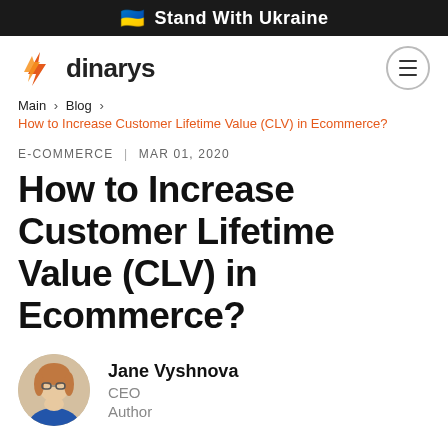Stand With Ukraine
[Figure (logo): Dinarys company logo with orange flame icon and text 'dinarys']
Main > Blog >
How to Increase Customer Lifetime Value (CLV) in Ecommerce?
E-COMMERCE | MAR 01, 2020
How to Increase Customer Lifetime Value (CLV) in Ecommerce?
[Figure (photo): Circular portrait photo of Jane Vyshnova, a woman with glasses and blue clothing]
Jane Vyshnova
CEO
Author